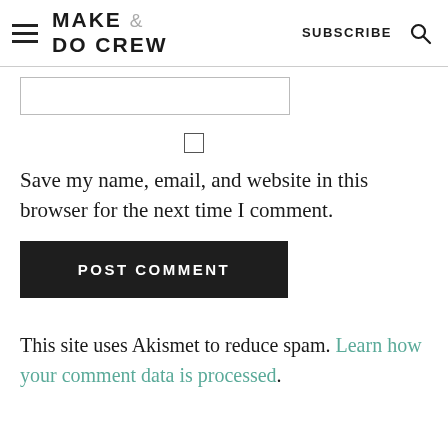MAKE & DO CREW | SUBSCRIBE
[Figure (screenshot): Text input field (form field, empty)]
[Figure (screenshot): Checkbox (unchecked)]
Save my name, email, and website in this browser for the next time I comment.
POST COMMENT
This site uses Akismet to reduce spam. Learn how your comment data is processed.